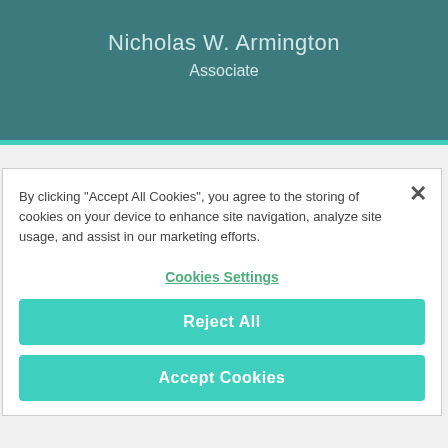Nicholas W. Armington
Associate
Nicholas W. Armington is an intellectual property attorney at Mintz who focuses on patent and trade
By clicking "Accept All Cookies", you agree to the storing of cookies on your device to enhance site navigation, analyze site usage, and assist in our marketing efforts.
Cookies Settings
Reject All
Accept Cookies